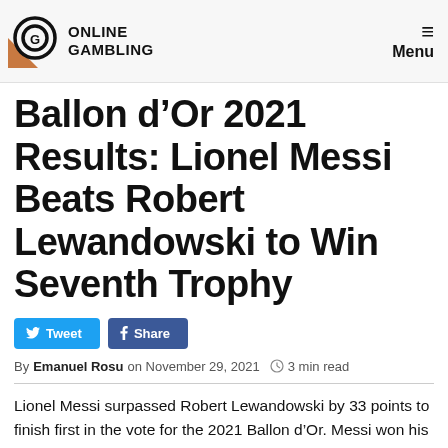ONLINE GAMBLING | Menu
Ballon d'Or 2021 Results: Lionel Messi Beats Robert Lewandowski to Win Seventh Trophy
[Figure (other): Tweet and Share social media buttons]
By Emanuel Rosu on November 29, 2021  3 min read
Lionel Messi surpassed Robert Lewandowski by 33 points to finish first in the vote for the 2021 Ballon d'Or. Messi won his seventh trophy, breaking the record he previously set with his